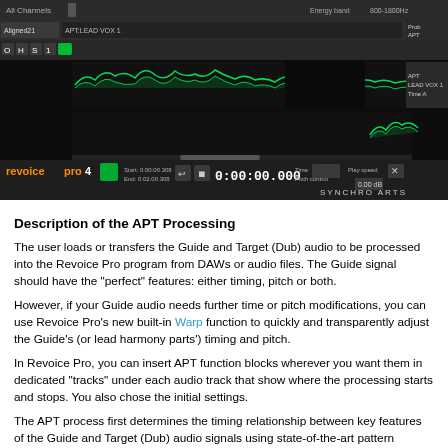[Figure (screenshot): Revoice Pro 4 software interface showing audio waveform tracks with toolbar, timecode display reading 0:00:00.000, and Synchro Arts logo at bottom right.]
Description of the APT Processing
The user loads or transfers the Guide and Target (Dub) audio to be processed into the Revoice Pro program from DAWs or audio files. The Guide signal should have the "perfect" features: either timing, pitch or both.
However, if your Guide audio needs further time or pitch modifications, you can use Revoice Pro's new built-in Warp function to quickly and transparently adjust the Guide's (or lead harmony parts') timing and pitch.
In Revoice Pro, you can insert APT function blocks wherever you want them in dedicated "tracks" under each audio track that show where the processing starts and stops. You also chose the initial settings.
The APT process first determines the timing relationship between key features of the Guide and Target (Dub) audio signals using state-of-the-art pattern recognition algorithms based partly on Synchro Arts' VocALign technology.